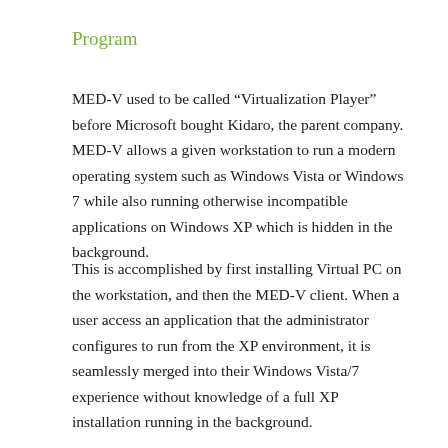Program
MED-V used to be called “Virtualization Player” before Microsoft bought Kidaro, the parent company. MED-V allows a given workstation to run a modern operating system such as Windows Vista or Windows 7 while also running otherwise incompatible applications on Windows XP which is hidden in the background.
This is accomplished by first installing Virtual PC on the workstation, and then the MED-V client. When a user access an application that the administrator configures to run from the XP environment, it is seamlessly merged into their Windows Vista/7 experience without knowledge of a full XP installation running in the background.